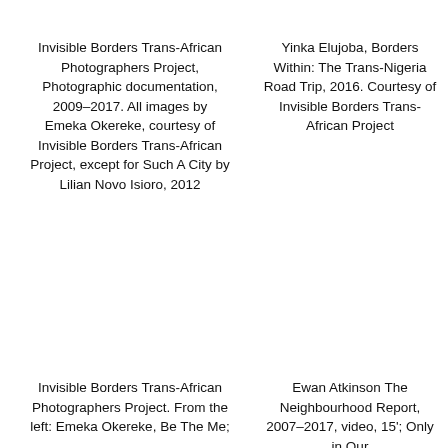Invisible Borders Trans-African Photographers Project, Photographic documentation, 2009–2017. All images by Emeka Okereke, courtesy of Invisible Borders Trans-African Project, except for Such A City by Lilian Novo Isioro, 2012
Yinka Elujoba, Borders Within: The Trans-Nigeria Road Trip, 2016. Courtesy of Invisible Borders Trans-African Project
Invisible Borders Trans-African Photographers Project. From the left: Emeka Okereke, Be The Me;
Ewan Atkinson The Neighbourhood Report, 2007–2017, video, 15'; Only in Our